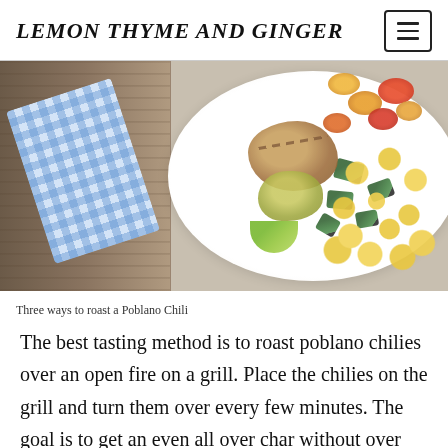LEMON THYME AND GINGER
[Figure (photo): Photo of a plate with grilled chicken, avocado sauce, lime wedge, cherry tomatoes, zucchini and corn, on a wooden table with blue checkered napkin.]
Three ways to roast a Poblano Chili
The best tasting method is to roast poblano chilies over an open fire on a grill. Place the chilies on the grill and turn them over every few minutes. The goal is to get an even all over char without over cooking the